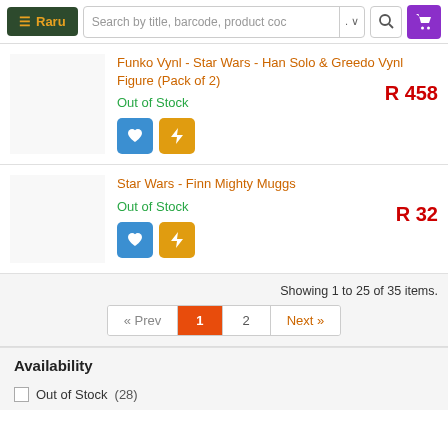≡ Raru | Search by title, barcode, product code
Funko Vynl - Star Wars - Han Solo & Greedo Vynl Figure (Pack of 2)
Out of Stock
R 458
Star Wars - Finn Mighty Muggs
Out of Stock
R 32
Showing 1 to 25 of 35 items.
« Prev  1  2  Next »
Availability
Out of Stock (28)